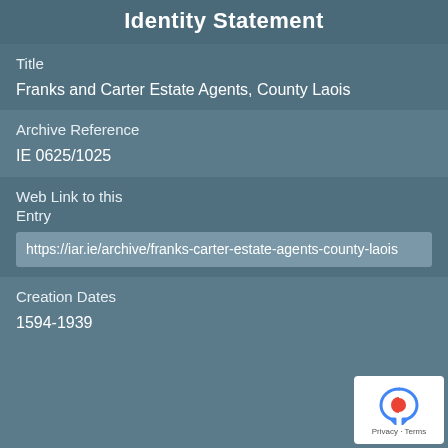Identity Statement
Title
Franks and Carter Estate Agents, County Laois
Archive Reference
IE 0625/1025
Web Link to this Entry
https://iar.ie/archive/franks-carter-estate-agents-county-laois
Creation Dates
1594-1939